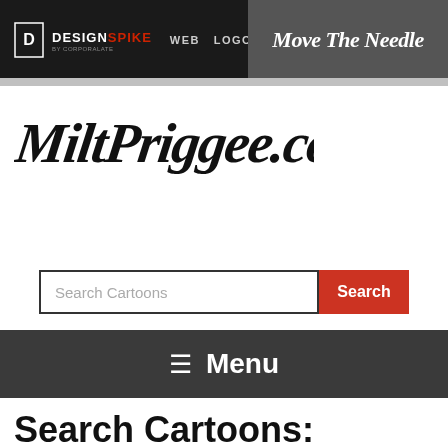DESIGN SPIKE — WEB LOGO PRINT — Move The Needle
[Figure (logo): MiltPriggee.com handwritten script logo]
[Figure (screenshot): Search Cartoons input field with Search button]
≡ Menu
Search Cartoons: "bowl"